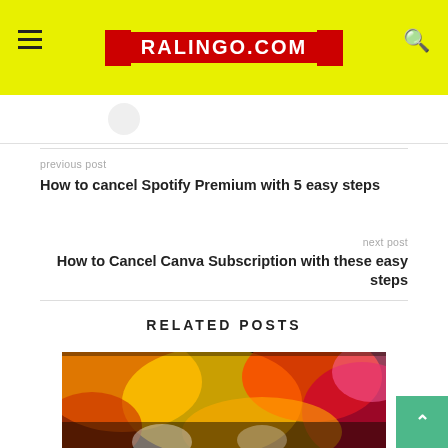RALINGO.COM
previous post
How to cancel Spotify Premium with 5 easy steps
next post
How to Cancel Canva Subscription with these easy steps
RELATED POSTS
[Figure (photo): Blurred colorful background image with red, yellow, orange colors, related post thumbnail]